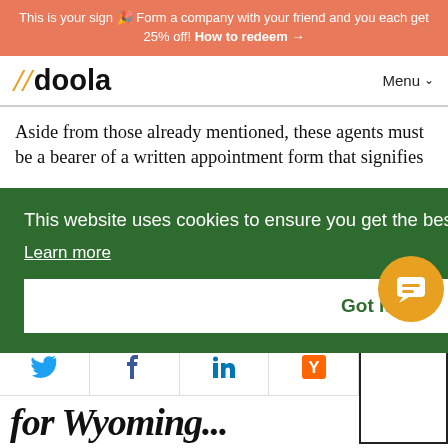This is your sign 🎉 Form a company with your friend and you each get 25% off! How to redeem →
[Figure (logo): doola logo with orange double-slash and bold text]
Menu ∨
Aside from those already mentioned, these agents must be a bearer of a written appointment form that signifies these ... d
This website uses cookies to ensure you get the best experience on our website.
Learn more
Got it!
for Wyoming...